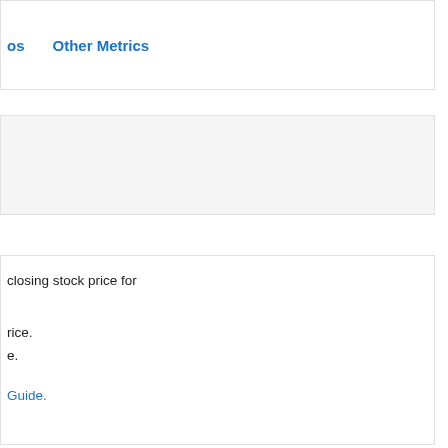os   Other Metrics
closing stock price for
rice.
e.
Guide.
SPONSORED FINANCIAL CONT
Your day-to day is not what yo think. Apply today. (Fidelity Investr